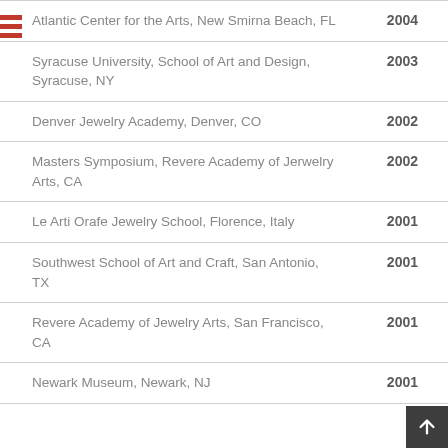Atlantic Center for the Arts, New Smirna Beach, FL 2004
Syracuse University, School of Art and Design, Syracuse, NY 2003
Denver Jewelry Academy, Denver, CO 2002
Masters Symposium, Revere Academy of Jerwelry Arts, CA 2002
Le Arti Orafe Jewelry School, Florence, Italy 2001
Southwest School of Art and Craft, San Antonio, TX 2001
Revere Academy of Jewelry Arts, San Francisco, CA 2001
Newark Museum, Newark, NJ 2001